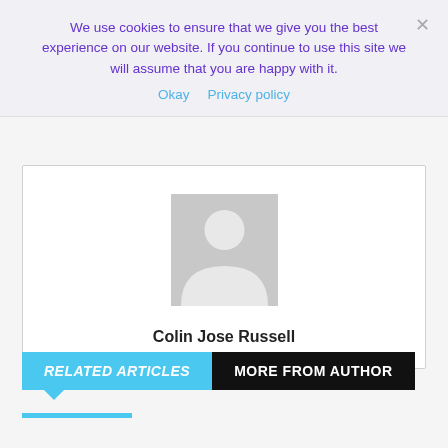We use cookies to ensure that we give you the best experience on our website. If you continue to use this site we will assume that you are happy with it.
Okay   Privacy policy
[Figure (illustration): Generic person silhouette placeholder avatar image in gray]
Colin Jose Russell
RELATED ARTICLES   MORE FROM AUTHOR